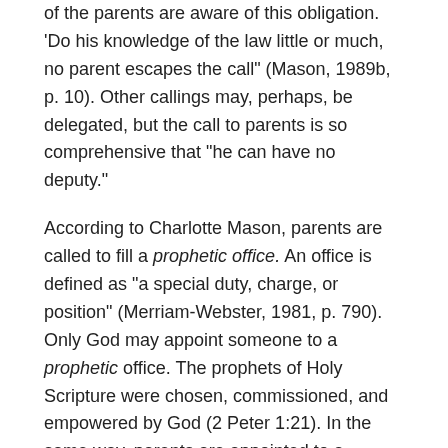of the parents are aware of this obligation. 'Do his knowledge of the law little or much, no parent escapes the call' (Mason, 1989b, p. 10). Other callings may, perhaps, be delegated, but the call to parents is so comprehensive that 'he can have no deputy.'
According to Charlotte Mason, parents are called to fill a prophetic office. An office is defined as 'a special duty, charge, or position' (Merriam-Webster, 1981, p. 790). Only God may appoint someone to a prophetic office. The prophets of Holy Scripture were chosen, commissioned, and empowered by God (2 Peter 1:21). In the same way, parents are appointed to a specific role:
“It is probable that parents as a class feel more than ever before the responsibility of their prophetic office. It is a message of God to their